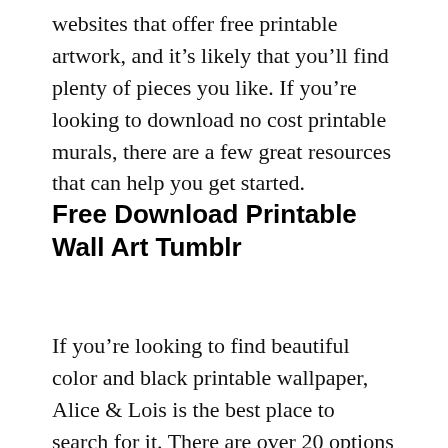websites that offer free printable artwork, and it's likely that you'll find plenty of pieces you like. If you're looking to download no cost printable murals, there are a few great resources that can help you get started.
Free Download Printable Wall Art Tumblr
If you're looking to find beautiful color and black printable wallpaper, Alice & Lois is the best place to search for it. There are over 20 options on the website, which includes